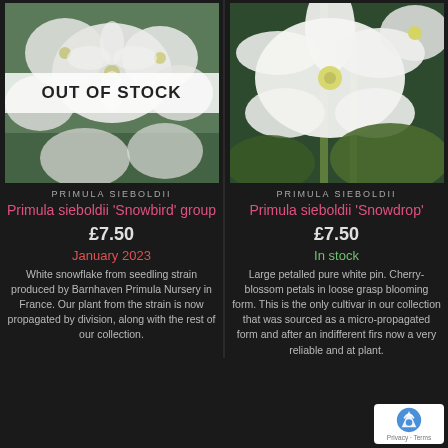[Figure (photo): White Primula sieboldii flowers with 'OUT OF STOCK' overlay banner across the middle]
[Figure (photo): Close-up of white Primula sieboldii 'Snowdrop' flowers with green stems against dark background]
PRIMULA SIEBOLDII
Primula sieboldii 'Snowbird' group
£7.50
January 2023
White snowflake from seedling strain produced by Barnhaven Primula Nursery in France. Our plant from the strain is now propagated by division, along with the rest of our collection.
PRIMULA SIEBOLDII
Primula sieboldii 'Snowdrop'
£7.50
In stock
Large petalled pure white pin. Cherry-blossom petals in loose grasp blooming form. This is the only cultivar in our collection that was sourced as a micro-propagated form and after an indifferent first now a very reliable and at plant.